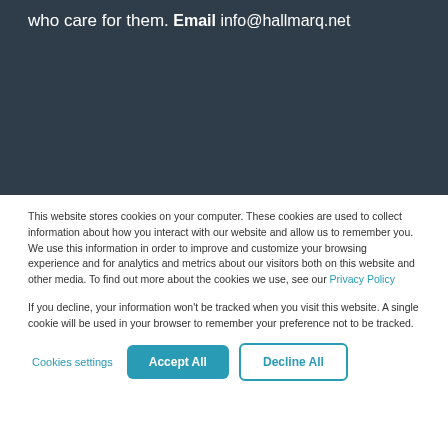who care for them.
Email
info@hallmarq.net
This website stores cookies on your computer. These cookies are used to collect information about how you interact with our website and allow us to remember you. We use this information in order to improve and customize your browsing experience and for analytics and metrics about our visitors both on this website and other media. To find out more about the cookies we use, see our Privacy Policy
If you decline, your information won’t be tracked when you visit this website. A single cookie will be used in your browser to remember your preference not to be tracked.
Cookies settings | Accept All | Decline All